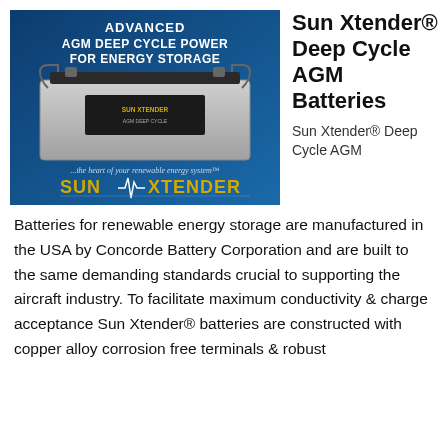[Figure (photo): Sun Xtender battery product advertisement image with dark blue background. Text reads 'ADVANCED AGM DEEP CYCLE POWER FOR ENERGY STORAGE' in bold white and yellow, with a photo of a large white AGM battery. Bottom text reads '...the heart of your renewable energy system' and 'SUN XTENDER' in large yellow/gold letters.]
Sun Xtender® Deep Cycle AGM Batteries
Sun Xtender® Deep Cycle AGM
Batteries for renewable energy storage are manufactured in the USA by Concorde Battery Corporation and are built to the same demanding standards crucial to supporting the aircraft industry. To facilitate maximum conductivity & charge acceptance Sun Xtender® batteries are constructed with copper alloy corrosion free terminals & robust